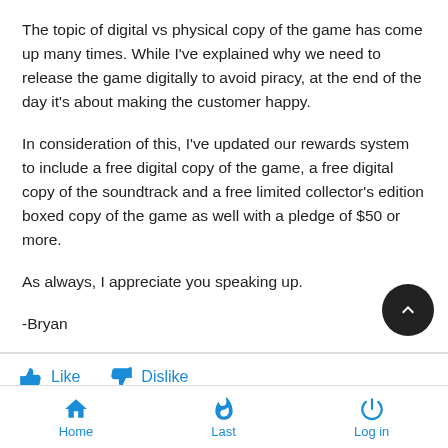The topic of digital vs physical copy of the game has come up many times. While I've explained why we need to release the game digitally to avoid piracy, at the end of the day it's about making the customer happy.
In consideration of this, I've updated our rewards system to include a free digital copy of the game, a free digital copy of the soundtrack and a free limited collector's edition boxed copy of the game as well with a pledge of $50 or more.
As always, I appreciate you speaking up.
-Bryan
Like   Dislike
Mon Apr 02, 2012 12:10 am
Home   Last   Log in